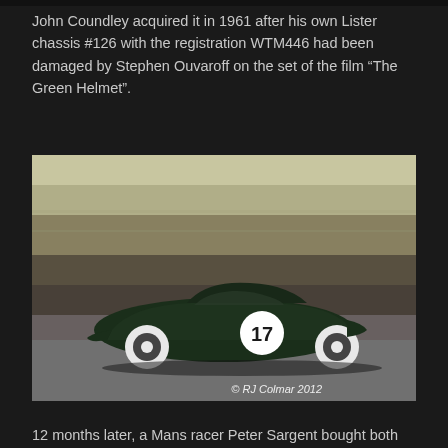John Coundley acquired it in 1961 after his own Lister chassis #126 with the registration WTM446 had been damaged by Stephen Ouvaroff on the set of the film “The Green Helmet”.
[Figure (photo): Dark green vintage racing car numbered 17 driving on a race track, photographed with motion blur background showing grass and tarmac. Copyright RJ Colmar 2012.]
© RJ Colmar 2012
12 months later, a Mans racer Peter Sargent bought both